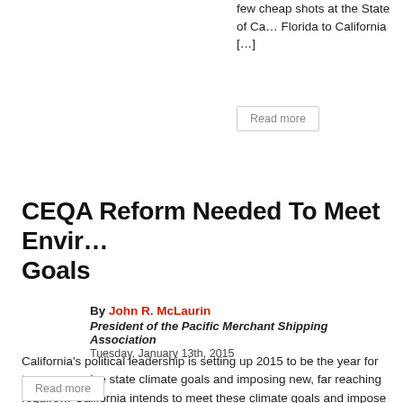few cheap shots at the State of Ca… Florida to California […]
Read more
CEQA Reform Needed To Meet Envir… Goals
By John R. McLaurin
President of the Pacific Merchant Shipping Association
Tuesday, January 13th, 2015
California's political leadership is setting up 2015 to be the year for ta… aggressive state climate goals and imposing new, far reaching require… California intends to meet these climate goals and impose new requir… corresponding change in the California Environmental Quality Act (CE… achieve these […]
Read more